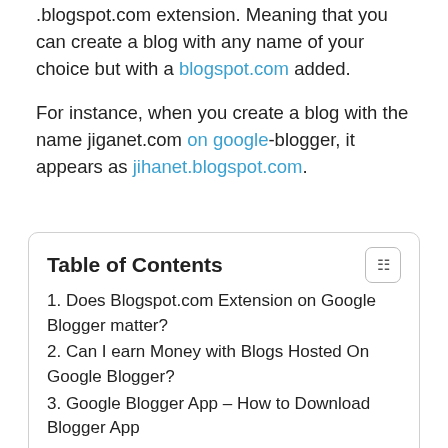.blogspot.com extension. Meaning that you can create a blog with any name of your choice but with a blogspot.com added.
For instance, when you create a blog with the name jiganet.com on google-blogger, it appears as jihanet.blogspot.com.
| Table of Contents |
| --- |
| 1. Does Blogspot.com Extension on Google Blogger matter? |
| 2. Can I earn Money with Blogs Hosted On Google Blogger? |
| 3. Google Blogger App – How to Download Blogger App |
| 4. On Android |
| 5. On iOS |
| 6. How to Access Blogger Blog on a browser |